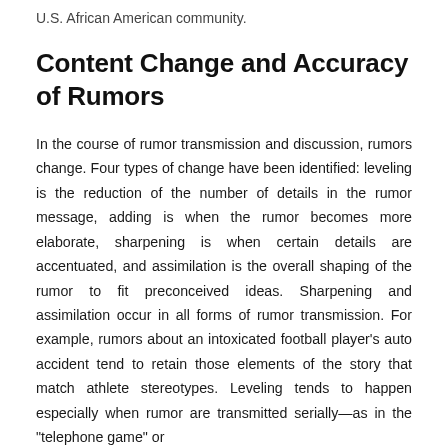U.S. African American community.
Content Change and Accuracy of Rumors
In the course of rumor transmission and discussion, rumors change. Four types of change have been identified: leveling is the reduction of the number of details in the rumor message, adding is when the rumor becomes more elaborate, sharpening is when certain details are accentuated, and assimilation is the overall shaping of the rumor to fit preconceived ideas. Sharpening and assimilation occur in all forms of rumor transmission. For example, rumors about an intoxicated football player's auto accident tend to retain those elements of the story that match athlete stereotypes. Leveling tends to happen especially when rumor are transmitted serially—as in the "telephone game" or